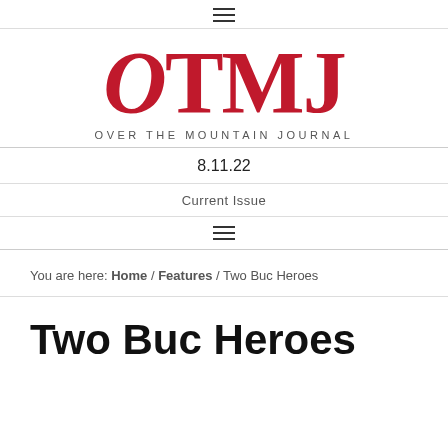≡
[Figure (logo): OTMJ Over The Mountain Journal logo with large red serif letters OTMJ and subtitle text OVER THE MOUNTAIN JOURNAL]
8.11.22
Current Issue
≡
You are here: Home / Features / Two Buc Heroes
Two Buc Heroes